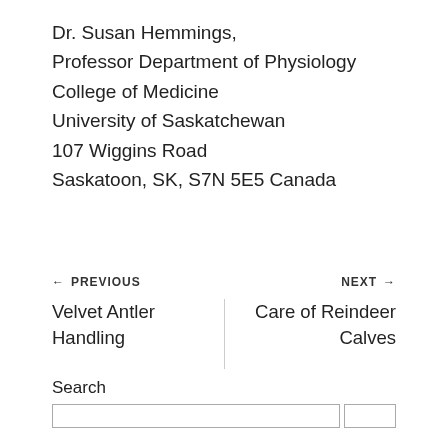Dr. Susan Hemmings,
Professor Department of Physiology
College of Medicine
University of Saskatchewan
107 Wiggins Road
Saskatoon, SK, S7N 5E5 Canada
← PREVIOUS
Velvet Antler Handling
NEXT →
Care of Reindeer Calves
Search